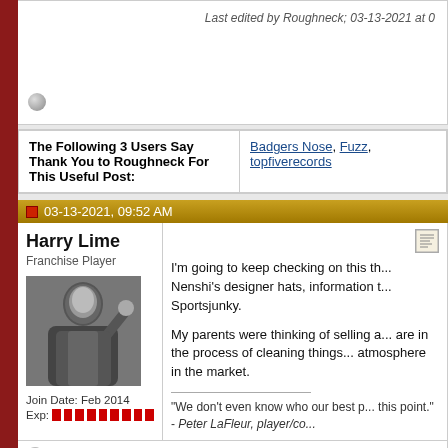Last edited by Roughneck; 03-13-2021 at 0
|  |  |
| --- | --- |
| The Following 3 Users Say Thank You to Roughneck For This Useful Post: | Badgers Nose, Fuzz, topfiverecords |
03-13-2021, 09:52 AM
Harry Lime
Franchise Player
Join Date: Feb 2014
Exp:
[Figure (photo): Black and white photo of Harry Lime, a man in a suit gesturing with his hand]
I'm going to keep checking on this th... Nenshi's designer hats, information t... Sportsjunky.

My parents were thinking of selling a... are in the process of cleaning things... atmosphere in the market.
"We don't even know who our best p... this point." - Peter LaFleur, player/co...
03-13-2021, 10:10 AM
Scroopy Noopers
Pent-up